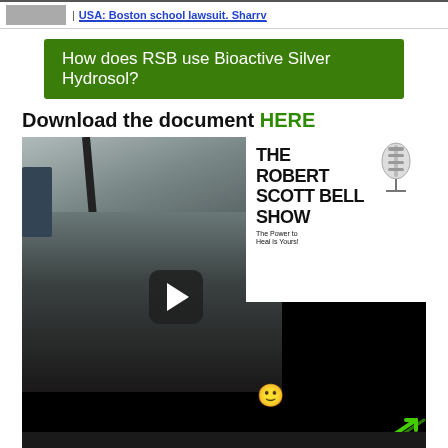USA: Boston school lawsuit. Sharrv
[Figure (screenshot): Green banner with white text: How does RSB use Bioactive Silver Hydrosol?]
Download the document HERE
[Figure (screenshot): Video thumbnail showing a man at a podcast microphone setup with The Robert Scott Bell Show logo overlay and a play button in the center.]